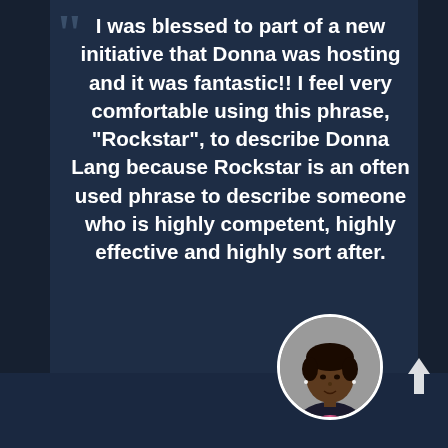I was blessed to part of a new initiative that Donna was hosting and it was fantastic!! I feel very comfortable using this phrase, "Rockstar", to describe Donna Lang because Rockstar is an often used phrase to describe someone who is highly competent, highly effective and highly sort after.
[Figure (photo): Circular profile photo of a woman with short dark hair, wearing a dark jacket and colorful top, against a grey background]